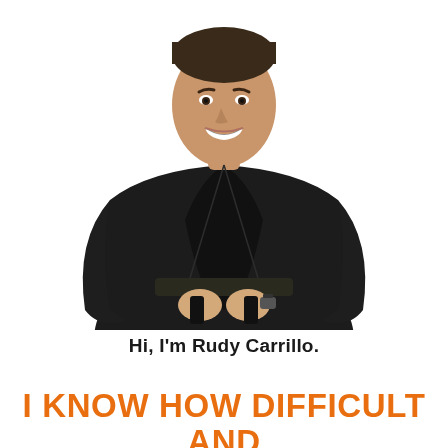[Figure (photo): A smiling young man wearing a black martial arts gi (karate uniform) with a black belt, holding the belt ends with both hands in front of him. He is photographed against a white background from roughly waist/hip up, showing his face and torso.]
Hi, I'm Rudy Carrillo.
I KNOW HOW DIFFICULT AND